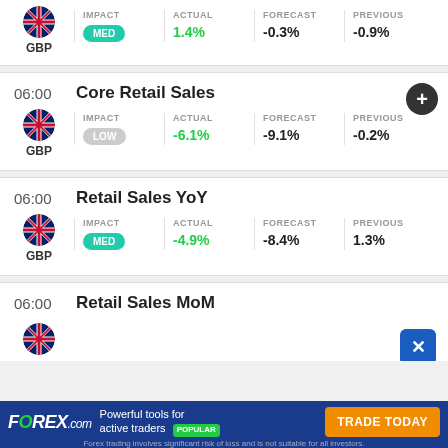| Currency | Impact | Actual | Forecast | Previous |
| --- | --- | --- | --- | --- |
| GBP | MED | 1.4% | -0.3% | -0.9% |
06:00 Core Retail Sales
| Currency | Impact | Actual | Forecast | Previous |
| --- | --- | --- | --- | --- |
| GBP | LOW | -6.1% | -9.1% | -0.2% |
06:00 Retail Sales YoY
| Currency | Impact | Actual | Forecast | Previous |
| --- | --- | --- | --- | --- |
| GBP | MED | -4.9% | -8.4% | 1.3% |
06:00 Retail Sales MoM
FOREX.com - Powerful tools for active traders POPULAR - TRADE TODAY - Forex trading involves significant risk of loss and is not suitable for all investors.